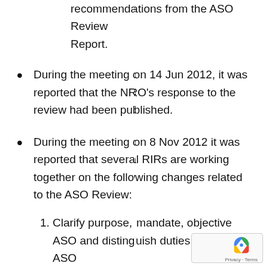recommendations from the ASO Review Report.
During the meeting on 14 Jun 2012, it was reported that the NRO's response to the review had been published.
During the meeting on 8 Nov 2012 it was reported that several RIRs are working together on the following changes related to the ASO Review:
1. Clarify purpose, mandate, objective
ASO and distinguish duties between ASO